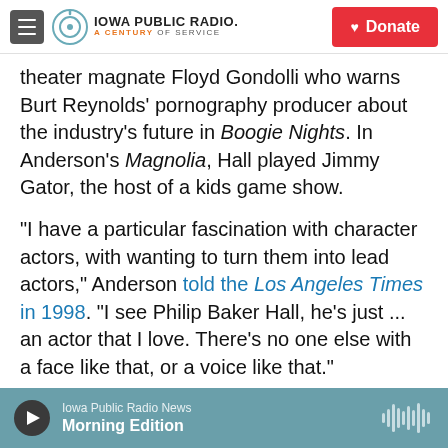Iowa Public Radio. A Century of Service. Donate.
theater magnate Floyd Gondolli who warns Burt Reynolds' pornography producer about the industry's future in Boogie Nights. In Anderson's Magnolia, Hall played Jimmy Gator, the host of a kids game show.
"I have a particular fascination with character actors, with wanting to turn them into lead actors," Anderson told the Los Angeles Times in 1998. "I see Philip Baker Hall, he's just ... an actor that I love. There's no one else with a face like that, or a voice like that."
Iowa Public Radio News — Morning Edition